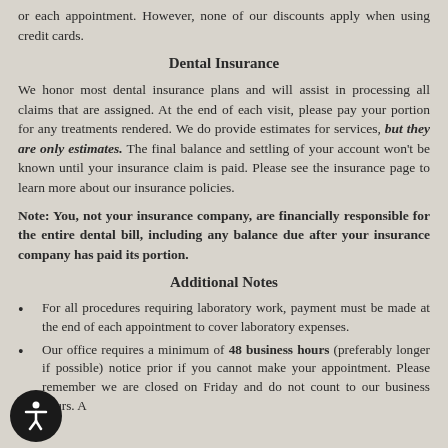or each appointment. However, none of our discounts apply when using credit cards.
Dental Insurance
We honor most dental insurance plans and will assist in processing all claims that are assigned. At the end of each visit, please pay your portion for any treatments rendered. We do provide estimates for services, but they are only estimates. The final balance and settling of your account won't be known until your insurance claim is paid. Please see the insurance page to learn more about our insurance policies.
Note: You, not your insurance company, are financially responsible for the entire dental bill, including any balance due after your insurance company has paid its portion.
Additional Notes
For all procedures requiring laboratory work, payment must be made at the end of each appointment to cover laboratory expenses.
Our office requires a minimum of 48 business hours (preferably longer if possible) notice prior if you cannot make your appointment. Please remember we are closed on Friday and do not count to our business hours. A